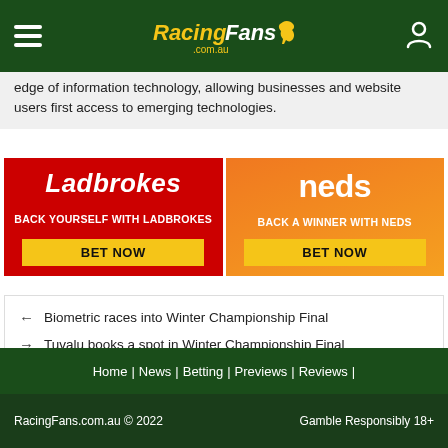RacingFans.com.au
edge of information technology, allowing businesses and website users first access to emerging technologies.
[Figure (infographic): Ladbrokes advertisement: red background, italic bold white text 'Ladbrokes', tagline 'BACK YOURSELF WITH LADBROKES', yellow button 'BET NOW']
[Figure (infographic): Neds advertisement: orange gradient background, bold white text 'neds', tagline 'BACK A WINNER WITH NEDS', yellow button 'BET NOW']
← Biometric races into Winter Championship Final
→ Tuvalu books a spot in Winter Championship Final
Home | News | Betting | Previews | Reviews |
RacingFans.com.au © 2022    Gamble Responsibly 18+